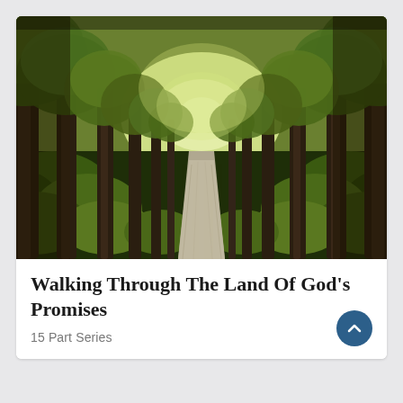[Figure (photo): A serene tree-lined path or avenue with tall trees arching overhead, lush green undergrowth on both sides, and a straight narrow walkway receding into bright light in the distance. Natural outdoor landscape scene.]
Walking Through The Land Of God’s Promises
15 Part Series